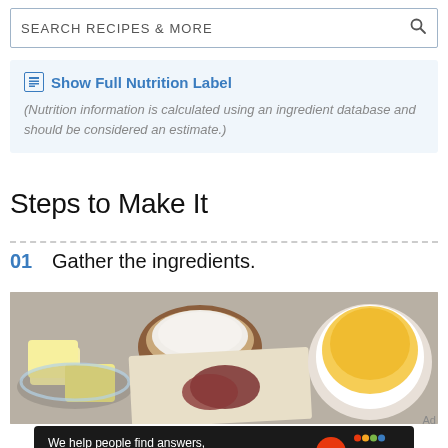SEARCH RECIPES & MORE
Show Full Nutrition Label
(Nutrition information is calculated using an ingredient database and should be considered an estimate.)
Steps to Make It
01  Gather the ingredients.
[Figure (photo): Overhead photo of baking ingredients: butter cubes in a glass bowl, flour in a clay bowl, honey/broth in a white bowl, and sliced meat on parchment paper]
Ad
We help people find answers, solve problems and get inspired. Dotdash meredith